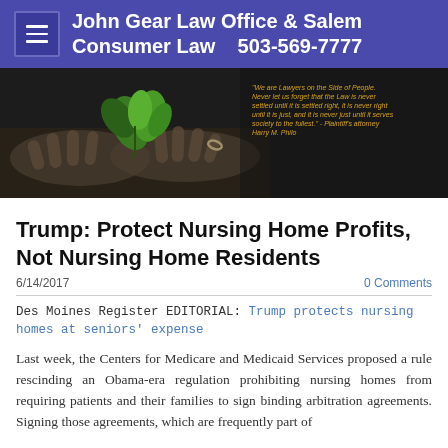John Gear Law Office & Salem Consumer Law    503-569-7777
[Figure (photo): Black and white photo of hands cradling a small green plant with a quote overlay in yellow/gold text: 'We are Lawyers on the Side of People. Never let us forget that the Law is never settled until it is settled right, it is never right until it is just, and it is never just until it serves society to the fullest.' - Plaintiff's attorney Harry M. Philo]
Trump: Protect Nursing Home Profits, Not Nursing Home Residents
6/14/2017
0 Comments
Des Moines Register EDITORIAL:  Trump protects nursing homes at seniors' expense
Last week, the Centers for Medicare and Medicaid Services proposed a rule rescinding an Obama-era regulation prohibiting nursing homes from requiring patients and their families to sign binding arbitration agreements. Signing those agreements, which are frequently part of